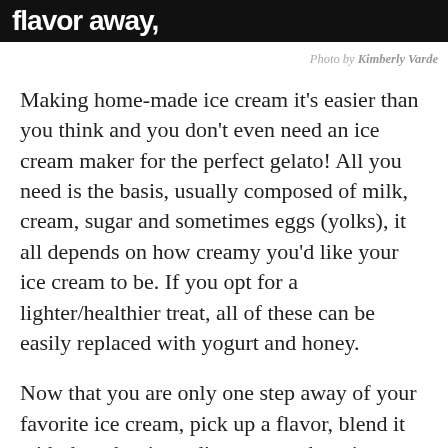flavor away,
Photo by Kimberly Vardе
Making home-made ice cream it’s easier than you think and you don’t even need an ice cream maker for the perfect gelato! All you need is the basis, usually composed of milk, cream, sugar and sometimes eggs (yolks), it all depends on how creamy you’d like your ice cream to be. If you opt for a lighter/healthier treat, all of these can be easily replaced with yogurt and honey.
Now that you are only one step away of your favorite ice cream, pick up a flavor, blend it with the other ingredients, pour the mixture into a